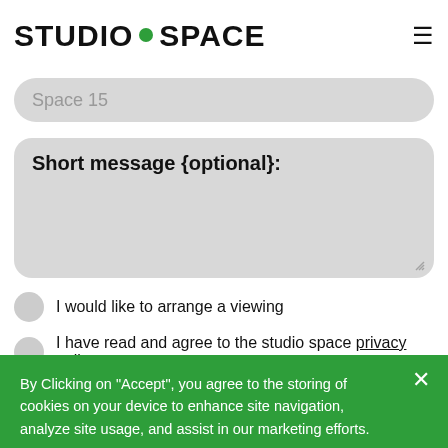STUDIO • SPACE
Space 15
Short message {optional}:
I would like to arrange a viewing
I have read and agree to the studio space privacy policy.
By Clicking on "Accept", you agree to the storing of cookies on your device to enhance site navigation, analyze site usage, and assist in our marketing efforts.
Accept All
Deny All
Cookie Settings